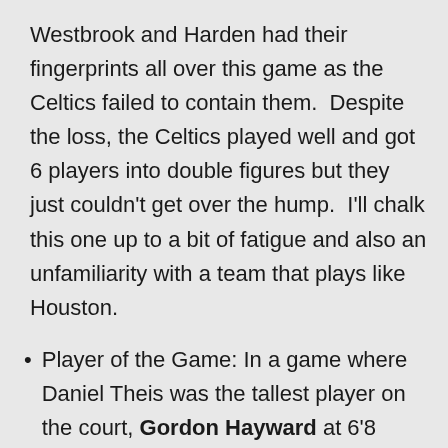Westbrook and Harden had their fingerprints all over this game as the Celtics failed to contain them.  Despite the loss, the Celtics played well and got 6 players into double figures but they just couldn't get over the hump.  I'll chalk this one up to a bit of fatigue and also an unfamiliarity with a team that plays like Houston.
Player of the Game: In a game where Daniel Theis was the tallest player on the court, Gordon Hayward at 6'8 showed the versatility that made him an all-star with the Utah Jazz.  He wheeled and dealed all night to the tune of 20 points, 6 assists and 8 rebounds.  Hayward has played great the